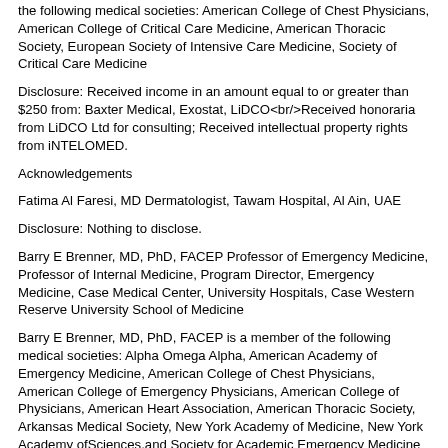the following medical societies: American College of Chest Physicians, American College of Critical Care Medicine, American Thoracic Society, European Society of Intensive Care Medicine, Society of Critical Care Medicine
Disclosure: Received income in an amount equal to or greater than $250 from: Baxter Medical, Exostat, LiDCO<br/>Received honoraria from LiDCO Ltd for consulting; Received intellectual property rights from iNTELOMED.
Acknowledgements
Fatima Al Faresi, MD Dermatologist, Tawam Hospital, Al Ain, UAE
Disclosure: Nothing to disclose.
Barry E Brenner, MD, PhD, FACEP Professor of Emergency Medicine, Professor of Internal Medicine, Program Director, Emergency Medicine, Case Medical Center, University Hospitals, Case Western Reserve University School of Medicine
Barry E Brenner, MD, PhD, FACEP is a member of the following medical societies: Alpha Omega Alpha, American Academy of Emergency Medicine, American College of Chest Physicians, American College of Emergency Physicians, American College of Physicians, American Heart Association, American Thoracic Society, Arkansas Medical Society, New York Academy of Medicine, New York Academy ofSciences,and Society for Academic Emergency Medicine
Disclosure: Nothing to disclose.
John L Brusch, MD, FACP Assistant Professor of Medicine, Harvard Medical